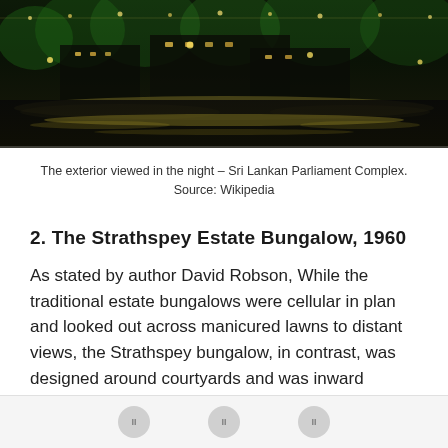[Figure (photo): Night photograph of Sri Lankan Parliament Complex exterior, showing illuminated building and reflections on water with city lights]
The exterior viewed in the night – Sri Lankan Parliament Complex. Source: Wikipedia
2. The Strathspey Estate Bungalow, 1960
As stated by author David Robson, While the traditional estate bungalows were cellular in plan and looked out across manicured lawns to distant views, the Strathspey bungalow, in contrast, was designed around courtyards and was inward looking, its plan conceived as a set of boxes within boxes.
Navigation buttons